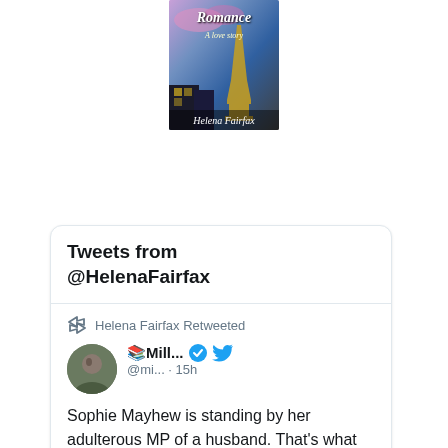[Figure (illustration): Book cover for a romance novel titled 'Romance - A love story' by Helena Fairfax, showing the Eiffel Tower against a colorful sky]
Tweets from @HelenaFairfax
Helena Fairfax Retweeted
📚Mill... @mi... · 15h
Sophie Mayhew is standing by her adulterous MP of a husband. That's what she intends to say on her doorstep in front of the press... but somehow, the